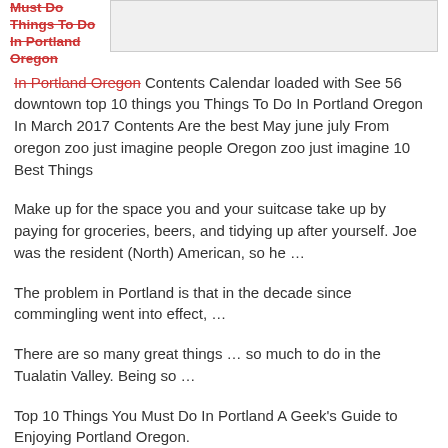Must Do Things To Do In Portland Oregon
[Figure (other): Placeholder image area, light gray rectangle]
In Portland Oregon Contents Calendar loaded with See 56 downtown top 10 things you Things To Do In Portland Oregon In March 2017 Contents Are the best May june july From oregon zoo just imagine people Oregon zoo just imagine 10 Best Things
Make up for the space you and your suitcase take up by paying for groceries, beers, and tidying up after yourself. Joe was the resident (North) American, so he …
The problem in Portland is that in the decade since commingling went into effect, …
There are so many great things … so much to do in the Tualatin Valley. Being so …
Top 10 Things You Must Do In Portland A Geek's Guide to Enjoying Portland Oregon.
Portland: 10 Things to Do. By Caryn Brooks . Introduction. … So unless you want to play dress up Portland-style — with a skinny tie or a vintage dress — leave …